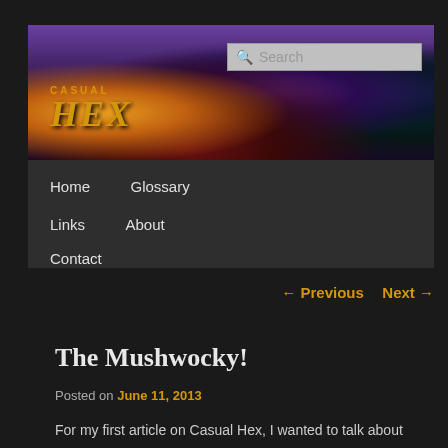[Figure (illustration): Casual Hex website header banner with fantasy game artwork showing colorful characters on dark background. Logo reads CASUAL HEX in orange/gold. Search bar visible in top right.]
Home
Glossary
Links
About
Contact
← Previous   Next →
The Mushwocky!
Posted on June 11, 2013
For my first article on Casual Hex, I wanted to talk about